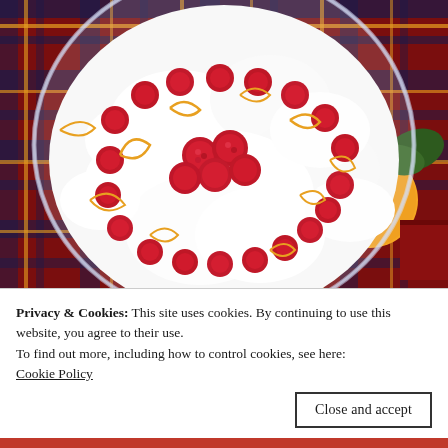[Figure (photo): Overhead view of a trifle dessert in a glass bowl with whipped cream, fresh raspberries, and orange zest curls, set on a plaid tablecloth with an orange and greenery visible in the background.]
Privacy & Cookies: This site uses cookies. By continuing to use this website, you agree to their use.
To find out more, including how to control cookies, see here:
Cookie Policy
Close and accept